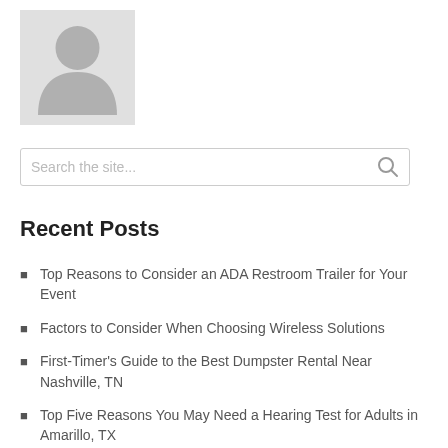[Figure (illustration): Generic user avatar placeholder image — grey silhouette of a person on a light grey background]
Search the site...
Recent Posts
Top Reasons to Consider an ADA Restroom Trailer for Your Event
Factors to Consider When Choosing Wireless Solutions
First-Timer's Guide to the Best Dumpster Rental Near Nashville, TN
Top Five Reasons You May Need a Hearing Test for Adults in Amarillo, TX
Herbalife Shakes Taste Yummy and Provides a Great Weight Loss Solution